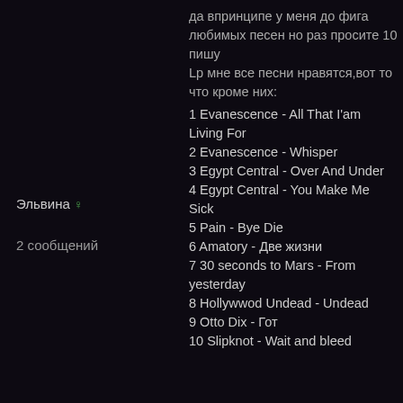Эльвина ♀
2 сообщений
да впринципе у меня до фига любимых песен но раз просите 10 пишу
Lp мне все песни нравятся,вот то что кроме них:
1 Evanescence - All That I'am Living For
2 Evanescence - Whisper
3 Egypt Central - Over And Under
4 Egypt Central - You Make Me Sick
5 Pain - Bye Die
6 Amatory - Две жизни
7 30 seconds to Mars - From yesterday
8 Hollywwod Undead - Undead
9 Otto Dix - Гот
10 Slipknot - Wait and bleed